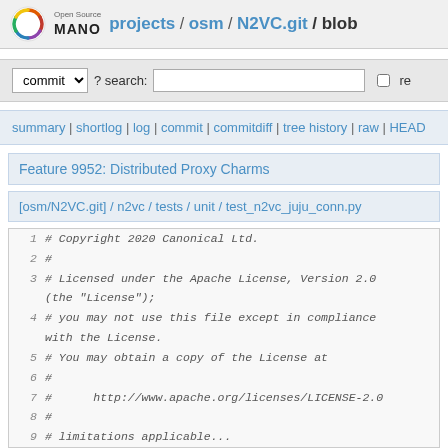Open Source MANO projects / osm / N2VC.git / blob
commit ? search: re
summary | shortlog | log | commit | commitdiff | tree history | raw | HEAD
Feature 9952: Distributed Proxy Charms
[osm/N2VC.git] / n2vc / tests / unit / test_n2vc_juju_conn.py
1 # Copyright 2020 Canonical Ltd.
2 #
3 # Licensed under the Apache License, Version 2.0 (the "License");
4 # you may not use this file except in compliance with the License.
5 # You may obtain a copy of the License at
6 #
7 #      http://www.apache.org/licenses/LICENSE-2.0
8 #
9 # limitations applicable...